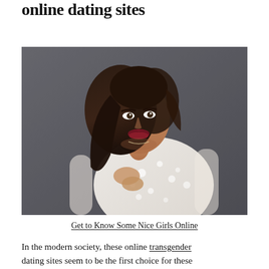online dating sites
[Figure (photo): A young woman with dark hair, red lipstick, wearing a white sheer embellished top, posing against a grey studio background.]
Get to Know Some Nice Girls Online
In the modern society, these online transgender dating sites seem to be the first choice for these